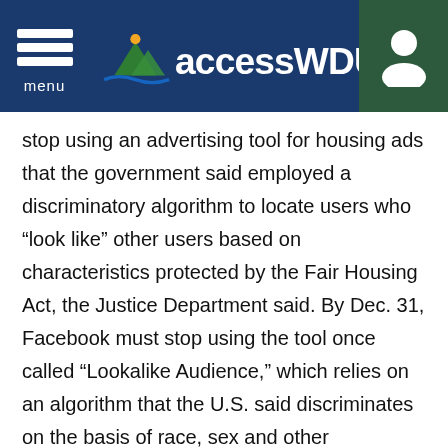accessWDUN
stop using an advertising tool for housing ads that the government said employed a discriminatory algorithm to locate users who “look like” other users based on characteristics protected by the Fair Housing Act, the Justice Department said. By Dec. 31, Facebook must stop using the tool once called “Lookalike Audience,” which relies on an algorithm that the U.S. said discriminates on the basis of race, sex and other characteristics.
Facebook also will develop a new system over the next half-year to address racial and other disparities caused by its use of personalization algorithms in